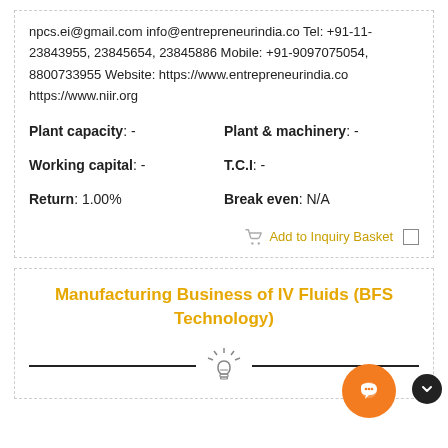npcs.ei@gmail.com info@entrepreneurindia.co Tel: +91-11-23843955, 23845654, 23845886 Mobile: +91-9097075054, 8800733955 Website: https://www.entrepreneurindia.co https://www.niir.org
Plant capacity: -
Plant & machinery: -
Working capital: -
T.C.I: -
Return: 1.00%
Break even: N/A
Add to Inquiry Basket
Manufacturing Business of IV Fluids (BFS Technology)